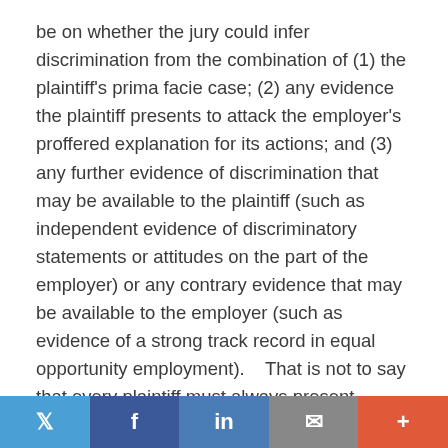be on whether the jury could infer discrimination from the combination of (1) the plaintiff's prima facie case; (2) any evidence the plaintiff presents to attack the employer's proffered explanation for its actions; and (3) any further evidence of discrimination that may be available to the plaintiff (such as independent evidence of discriminatory statements or attitudes on the part of the employer) or any contrary evidence that may be available to the employer (such as evidence of a strong track record in equal opportunity employment). That is not to say that every plaintiff must always present evidence in each of these categories in order to avoid summary judgment.4 In this case, Aka has presented evidence in the first two categories, but neither Aka nor WHC has presented any evidence in the third. We are therefore faced with the issue of when evidence in categories (1) and (2) alone can suffice to
Twitter | Facebook | LinkedIn | Email | More